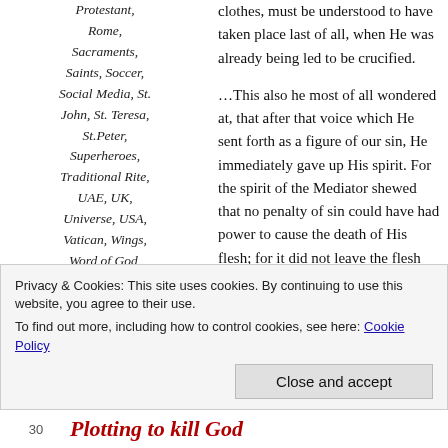Protestant, Rome, Sacraments, Saints, Soccer, Social Media, St. John, St. Teresa, St.Peter, Superheroes, Traditional Rite, UAE, UK, Universe, USA, Vatican, Wings, Word of God, Word on Fire, Word Press,
clothes, must be understood to have taken place last of all, when He was already being led to be crucified.
…This also he most of all wondered at, that after that voice which He sent forth as a figure of our sin, He immediately gave up His spirit. For the spirit of the Mediator shewed that no penalty of sin could have had power to cause the death of His flesh; for it did not leave the flesh unwillingly, but as it willed, for it was joined to the Word of God in the unity of person.
The above is an excerpt from St. Augustine's homily on the Palm Sunday Gospel.
Privacy & Cookies: This site uses cookies. By continuing to use this website, you agree to their use.
To find out more, including how to control cookies, see here: Cookie Policy
Close and accept
30  Plotting to kill God